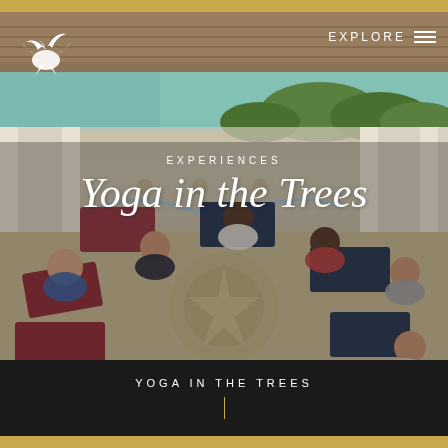[Figure (photo): Group yoga session in an open-air pavilion with thatched roof, several people seated in meditation poses on yoga mats arranged in a circle on a decorative tiled floor, ocean and palm trees visible in the background]
EXPERIENCES
Yoga in the Trees
YOGA IN THE TREES